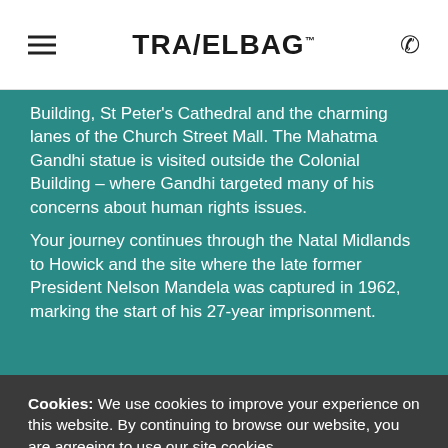TRAVELBAG
Building, St Peter's Cathedral and the charming lanes of the Church Street Mall. The Mahatma Gandhi statue is visited outside the Colonial Building – where Gandhi targeted many of his concerns about human rights issues.
Your journey continues through the Natal Midlands to Howick and the site where the late former President Nelson Mandela was captured in 1962, marking the start of his 27-year imprisonment.
Cookies: We use cookies to improve your experience on this website. By continuing to browse our website, you are agreeing to use our site cookies. See our cookie policy for more information on cookies and how to manage them.
I Accept